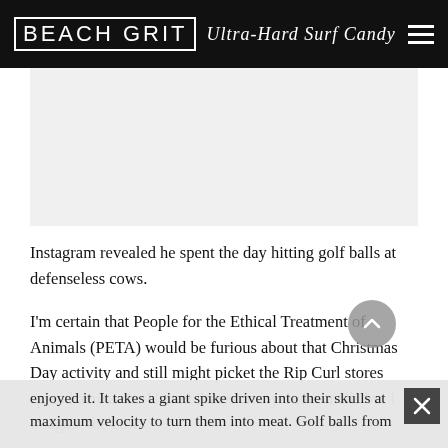BEACH GRIT Ultra-Hard Surf Candy
[Figure (other): Light gray advertisement placeholder rectangle]
Instagram revealed he spent the day hitting golf balls at defenseless cows.
I'm certain that People for the Ethical Treatment of Animals (PETA) would be furious about that Christmas Day activity and still might picket the Rip Curl stores spread across the United States' many outlet malls but I imagine the cows enjoyed it. It takes a giant spike driven into their skulls at maximum velocity to turn them into meat. Golf balls from